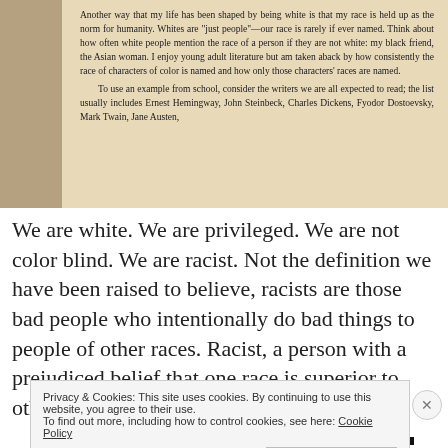[Figure (photo): A photograph of an open book page with text about race and whiteness, shown at an angle with warm lighting on aged/cream paper.]
We are white. We are privileged. We are not color blind. We are racist. Not the definition we have been raised to believe, racists are those bad people who intentionally do bad things to people of other races. Racist, a person with a prejudiced belief that one race is superior to others. We are because
Privacy & Cookies: This site uses cookies. By continuing to use this website, you agree to their use. To find out more, including how to control cookies, see here: Cookie Policy
Close and accept